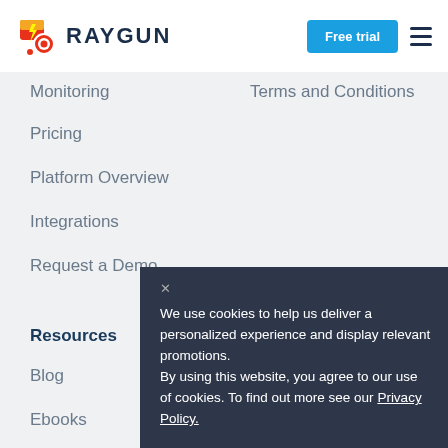RAYGUN | Free trial
Monitoring
Terms and Conditions
Pricing
Platform Overview
Integrations
Request a Demo
Resources
Company
Blog
About Raygun
Ebooks
Webina
We use cookies to help us deliver a personalized experience and display relevant promotions. By using this website, you agree to our use of cookies. To find out more see our Privacy Policy.